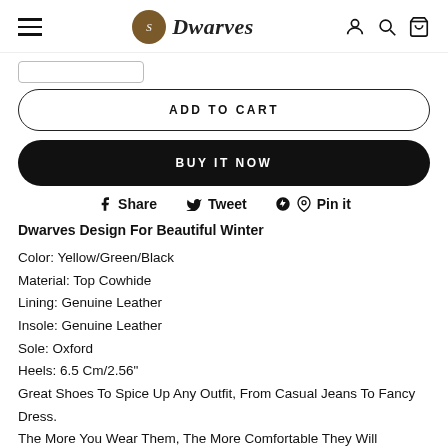Dwarves (logo/navigation header)
ADD TO CART
BUY IT NOW
Share   Tweet   Pin it
Dwarves Design For Beautiful Winter
Color: Yellow/Green/Black
Material: Top Cowhide
Lining: Genuine Leather
Insole: Genuine Leather
Sole: Oxford
Heels: 6.5 Cm/2.56"
Great Shoes To Spice Up Any Outfit, From Casual Jeans To Fancy Dress. The More You Wear Them, The More Comfortable They Will Become!